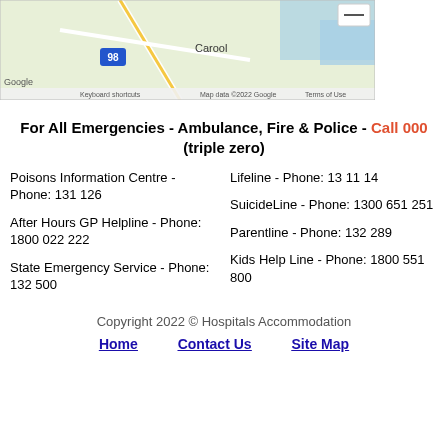[Figure (screenshot): Google Maps partial screenshot showing Carool area with road 98 visible, keyboard shortcuts, map data 2022 Google, Terms of Use footer text]
For All Emergencies - Ambulance, Fire & Police - Call 000 (triple zero)
Poisons Information Centre - Phone: 131 126
Lifeline - Phone: 13 11 14
After Hours GP Helpline - Phone: 1800 022 222
SuicideLine - Phone: 1300 651 251
State Emergency Service - Phone: 132 500
Parentline - Phone: 132 289
Kids Help Line - Phone: 1800 551 800
Copyright 2022 © Hospitals Accommodation
Home   Contact Us   Site Map